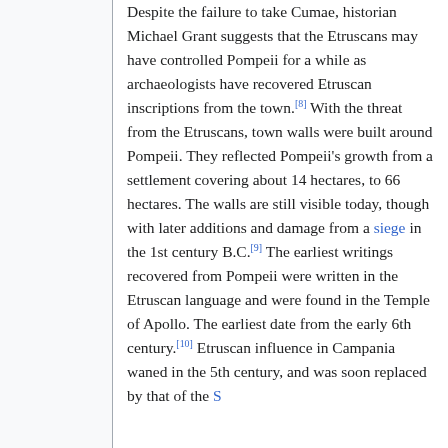Despite the failure to take Cumae, historian Michael Grant suggests that the Etruscans may have controlled Pompeii for a while as archaeologists have recovered Etruscan inscriptions from the town.[8] With the threat from the Etruscans, town walls were built around Pompeii. They reflected Pompeii's growth from a settlement covering about 14 hectares, to 66 hectares. The walls are still visible today, though with later additions and damage from a siege in the 1st century B.C.[9] The earliest writings recovered from Pompeii were written in the Etruscan language and were found in the Temple of Apollo. The earliest date from the early 6th century.[10] Etruscan influence in Campania waned in the 5th century, and was soon replaced by that of the Samnites. In 421 B.C. the Samnites...